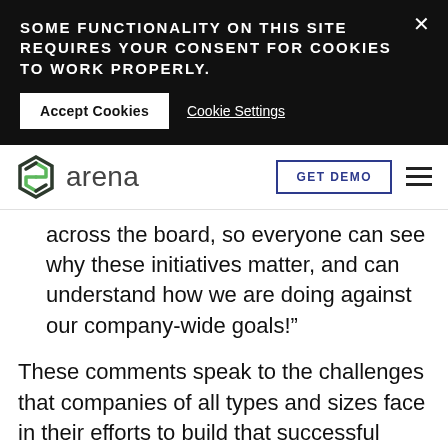SOME FUNCTIONALITY ON THIS SITE REQUIRES YOUR CONSENT FOR COOKIES TO WORK PROPERLY.
Accept Cookies
Cookie Settings
[Figure (logo): Arena logo - green hexagonal icon with 'arena' text]
GET DEMO
across the board, so everyone can see why these initiatives matter, and can understand how we are doing against our company-wide goals!"
These comments speak to the challenges that companies of all types and sizes face in their efforts to build that successful quality culture.